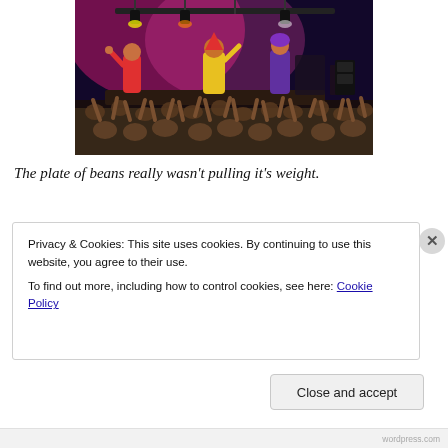[Figure (photo): Concert photo showing performers in colorful costumes (red, yellow, purple) on a stage with pink/magenta lighting, performing to a large crowd with hands raised.]
The plate of beans really wasn't pulling it's weight.
Privacy & Cookies: This site uses cookies. By continuing to use this website, you agree to their use.
To find out more, including how to control cookies, see here: Cookie Policy
Close and accept